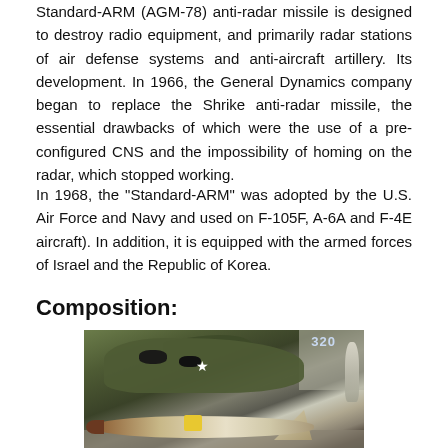Standard-ARM (AGM-78) anti-radar missile is designed to destroy radio equipment, and primarily radar stations of air defense systems and anti-aircraft artillery. Its development. In 1966, the General Dynamics company began to replace the Shrike anti-radar missile, the essential drawbacks of which were the use of a pre-configured CNS and the impossibility of homing on the radar, which stopped working.
In 1968, the "Standard-ARM" was adopted by the U.S. Air Force and Navy and used on F-105F, A-6A and F-4E aircraft). In addition, it is equipped with the armed forces of Israel and the Republic of Korea.
Composition:
[Figure (photo): Photograph of an aircraft (appears to be an A-6 Intruder with number 320) in a hangar with a Standard-ARM missile displayed in the foreground on a stand.]